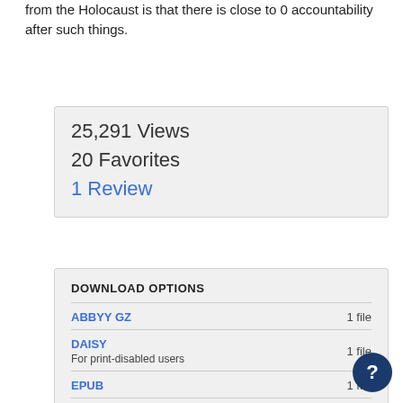from the Holocaust is that there is close to 0 accountability after such things.
25,291 Views
20 Favorites
1 Review
DOWNLOAD OPTIONS
ABBYY GZ  1 file
DAISY  1 file
For print-disabled users
EPUB  1 file
FULL TEXT
ITEM TILE  1 file